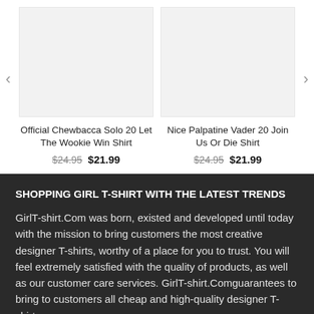[Figure (photo): Product image placeholder for Official Chewbacca Solo 20 Let The Wookie Win Shirt - light grey rectangle]
Official Chewbacca Solo 20 Let The Wookie Win Shirt $24.95 $21.99
[Figure (photo): Product image placeholder for Nice Palpatine Vader 20 Join Us Or Die Shirt - light grey rectangle]
Nice Palpatine Vader 20 Join Us Or Die Shirt $24.95 $21.99
SHOPPING GIRL T-SHIRT WITH THE LATEST TRENDS
GirlT-shirt.Com was born, existed and developed until today with the mission to bring customers the most creative designer T-shirts, worthy of a place for you to trust. You will feel extremely satisfied with the quality of products, as well as our customer care services. GirlT-shirt.Comguarantees to bring to customers all cheap and high-quality designer T-shirts.